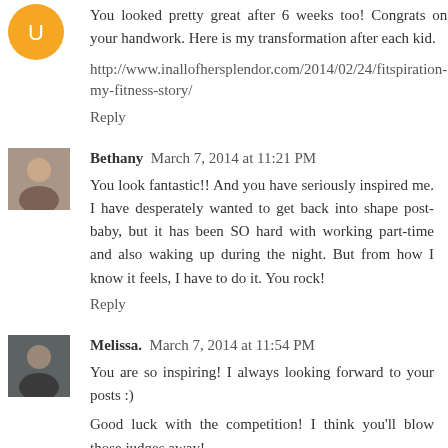[Figure (photo): Orange circular avatar/logo at top left]
You looked pretty great after 6 weeks too! Congrats on your handwork. Here is my transformation after each kid.
http://www.inallofhersplendor.com/2014/02/24/fitspiration-my-fitness-story/
Reply
[Figure (photo): Small avatar photo of Bethany]
Bethany  March 7, 2014 at 11:21 PM
You look fantastic!! And you have seriously inspired me. I have desperately wanted to get back into shape post-baby, but it has been SO hard with working part-time and also waking up during the night. But from how I know it feels, I have to do it. You rock!
Reply
[Figure (photo): Small avatar photo of Melissa]
Melissa.  March 7, 2014 at 11:54 PM
You are so inspiring! I always looking forward to your posts :)
Good luck with the competition! I think you'll blow those judges away!